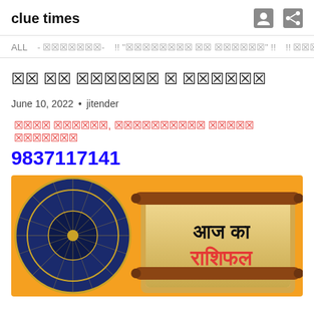clue times
ALL  - [Hindi nav items] - !! "[Hindi]" !!  !! [Hindi] !!
[Hindi tofu title text]
June 10, 2022 • jitender
[Hindi red text ad line]
9837117141
[Figure (illustration): Astrology banner image showing a zodiac wheel on the left against an orange background, and a scroll on the right with Hindi text reading 'Aaj ka Rashifal' (Today's Horoscope). The scroll text shows 'आज का' in black and 'राशिफल' in red.]